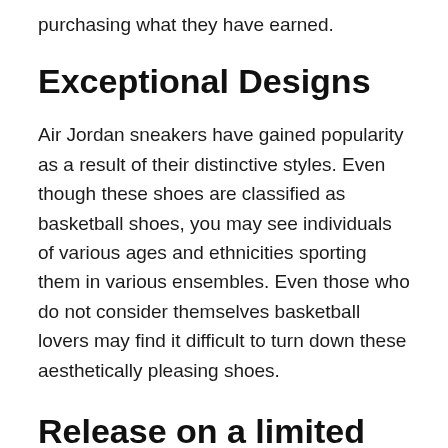purchasing what they have earned.
Exceptional Designs
Air Jordan sneakers have gained popularity as a result of their distinctive styles. Even though these shoes are classified as basketball shoes, you may see individuals of various ages and ethnicities sporting them in various ensembles. Even those who do not consider themselves basketball lovers may find it difficult to turn down these aesthetically pleasing shoes.
Release on a limited basis
Because customers like to line up outside of shops